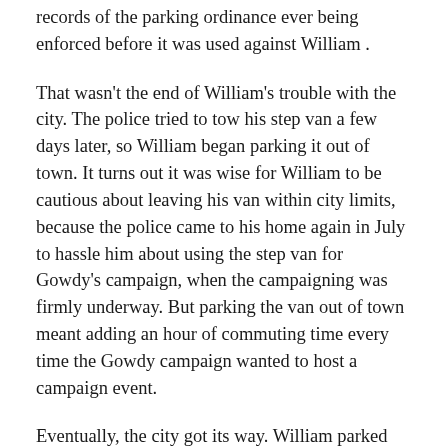records of the parking ordinance ever being enforced before it was used against William .
That wasn't the end of William's trouble with the city. The police tried to tow his step van a few days later, so William began parking it out of town. It turns out it was wise for William to be cautious about leaving his van within city limits, because the police came to his home again in July to hassle him about using the step van for Gowdy's campaign, when the campaigning was firmly underway. But parking the van out of town meant adding an hour of commuting time every time the Gowdy campaign wanted to host a campaign event.
Eventually, the city got its way. William parked the step van at his home on August 18, planning to take it out to campaign later that afternoon. Even though East Cleveland has serious crime problems and a short-